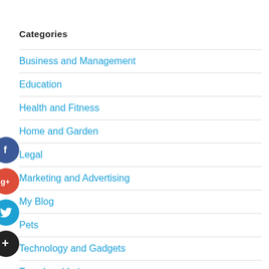Categories
Business and Management
Education
Health and Fitness
Home and Garden
Legal
Marketing and Advertising
My Blog
Pets
Technology and Gadgets
Travel and Leisure